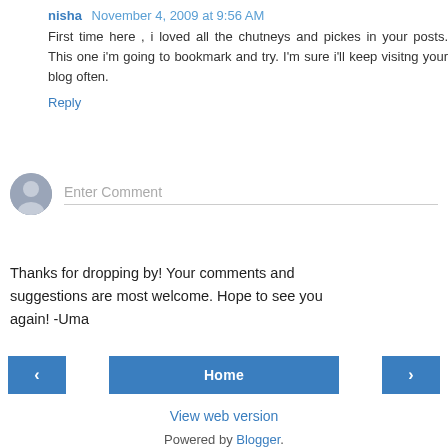nisha November 4, 2009 at 9:56 AM
First time here , i loved all the chutneys and pickes in your posts. This one i'm going to bookmark and try. I'm sure i'll keep visitng your blog often.
Reply
[Figure (other): Enter Comment input area with avatar icon]
Thanks for dropping by! Your comments and suggestions are most welcome. Hope to see you again! -Uma
< Home >
View web version
Powered by Blogger.